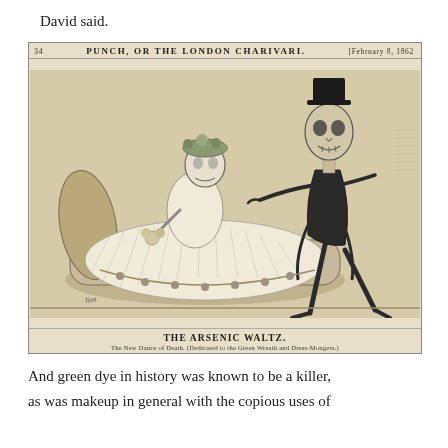David said.
[Figure (illustration): A Victorian-era illustration from Punch, or The London Charivari (February 8, 1862), titled 'The Arsenic Waltz. The New Dance of Death. (Dedicated to the Green Wreath and Dress-Mongers.)' Showing two skeletal figures — one dressed as a woman in a ballgown reclining on a chaise, and one dressed as a gentleman in formal attire leaning toward her.]
And green dye in history was known to be a killer, as was makeup in general with the copious uses of